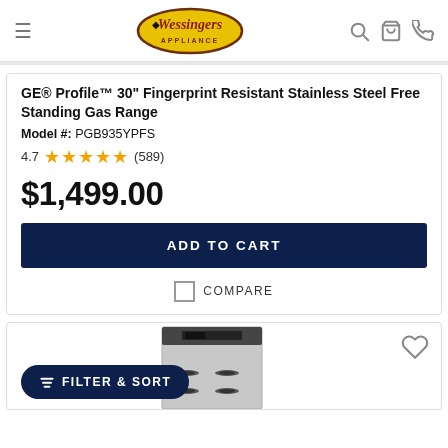Wessingers Appliance — navigation header with logo, search, cart, phone icons
GE® Profile™ 30" Fingerprint Resistant Stainless Steel Free Standing Gas Range
Model #: PGB935YPFS
4.7 ★★★★★ (589)
$1,499.00
ADD TO CART
COMPARE
[Figure (photo): Partial view of a stainless steel free-standing gas range appliance in the second product card below]
FILTER & SORT